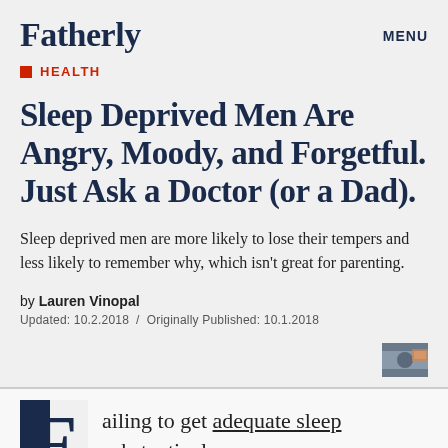Fatherly | MENU
HEALTH
Sleep Deprived Men Are Angry, Moody, and Forgetful. Just Ask a Doctor (or a Dad).
Sleep deprived men are more likely to lose their tempers and less likely to remember why, which isn't great for parenting.
by Lauren Vinopal
Updated: 10.2.2018 / Originally Published: 10.1.2018
ailing to get adequate sleep substantively